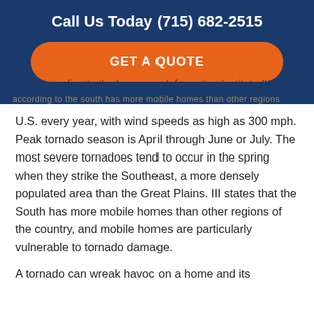Call Us Today (715) 682-2515
[Figure (other): Orange rounded rectangle call-to-action button with text GET A QUOTE]
According to the Insurance Information Institute (III)
U.S. every year, with wind speeds as high as 300 mph. Peak tornado season is April through June or July. The most severe tornadoes tend to occur in the spring when they strike the Southeast, a more densely populated area than the Great Plains. III states that the South has more mobile homes than other regions of the country, and mobile homes are particularly vulnerable to tornado damage.
A tornado can wreak havoc on a home and its